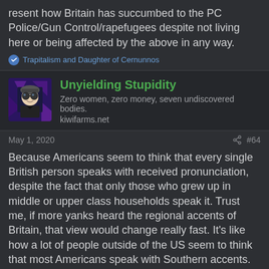resent how Britain has succumbed to the PC Police/Gun Control/rapefugees despite not living here or being affected by the above in any way.
Trapitalism and Daughter of Cernunnos
Unyielding Stupidity
Zero women, zero money, seven undiscovered bodies. kiwifarms.net
May 1, 2020
#64
Because Americans seem to think that every single British person speaks with received pronunciation, despite the fact that only those who grew up in middle or upper class households speak it. Trust me, if more yanks heard the regional accents of Britain, that view would change really fast. It's like how a lot of people outside of the US seem to think that most Americans speak with Southern accents.
Robert Sanvagene, Johan Schmidt, Troonologist PhD and 2 others